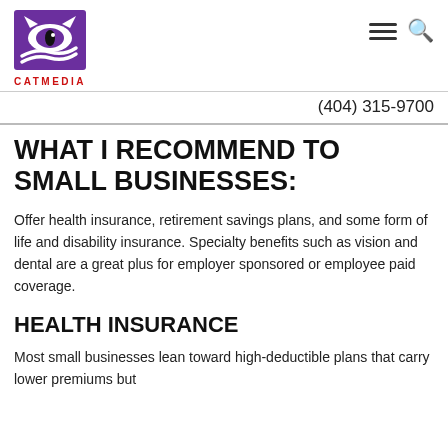[Figure (logo): CATMEDIA logo — purple square with stylized cat/eye graphic and 'CATMEDIA' text in red below]
(404) 315-9700
WHAT I RECOMMEND TO SMALL BUSINESSES:
Offer health insurance, retirement savings plans, and some form of life and disability insurance. Specialty benefits such as vision and dental are a great plus for employer sponsored or employee paid coverage.
HEALTH INSURANCE
Most small businesses lean toward high-deductible plans that carry lower premiums but